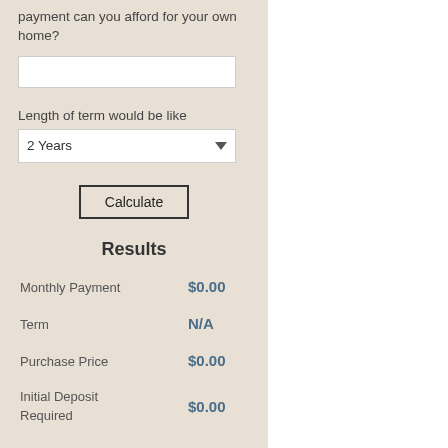payment can you afford for your own home?
Length of term would be like
2 Years
Calculate
Results
Monthly Payment   $0.00
Term   N/A
Purchase Price   $0.00
Initial Deposit Required   $0.00